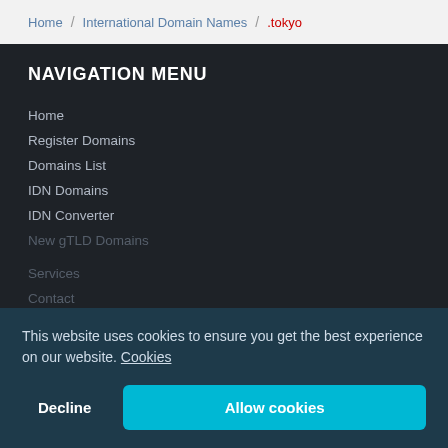Home / International Domain Names / .tokyo
NAVIGATION MENU
Home
Register Domains
Domains List
IDN Domains
IDN Converter
New gTLD Domains
Services
Contact
This website uses cookies to ensure you get the best experience on our website. Cookies
Decline  Allow cookies